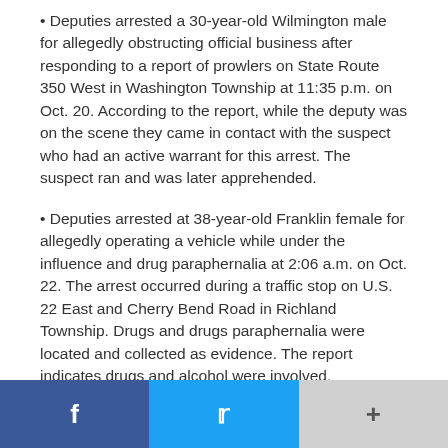• Deputies arrested a 30-year-old Wilmington male for allegedly obstructing official business after responding to a report of prowlers on State Route 350 West in Washington Township at 11:35 p.m. on Oct. 20. According to the report, while the deputy was on the scene they came in contact with the suspect who had an active warrant for this arrest. The suspect ran and was later apprehended.
• Deputies arrested at 38-year-old Franklin female for allegedly operating a vehicle while under the influence and drug paraphernalia at 2:06 a.m. on Oct. 22. The arrest occurred during a traffic stop on U.S. 22 East and Cherry Bend Road in Richland Township. Drugs and drugs paraphernalia were located and collected as evidence. The report indicates drugs and alcohol were involved.
• At 2:45 p.m. on Oct. 20, deputies responded to the area of Oak Grove and Canada Road in Martinsville/Clark Township on the report a suspicious vehicle. The vehicle — a white
f  🐦  +